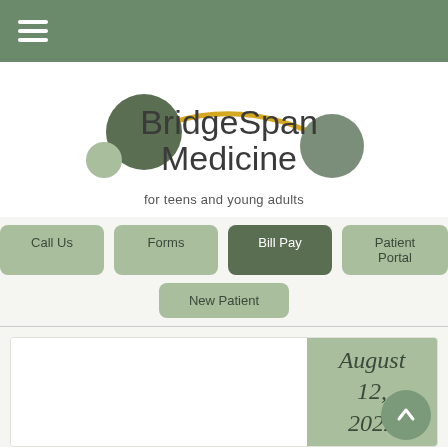BridgeSpan Medicine - navigation header
[Figure (logo): BridgeSpan Medicine logo with dark green circles connected by a yellow arc, text reads BridgeSpan Medicine for teens and young adults]
Call Us
Forms
Bill Pay
Patient Portal
New Patient
August 12, 2022